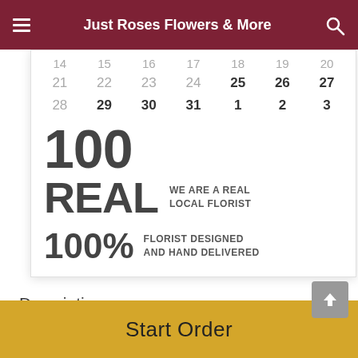Just Roses Flowers & More
[Figure (screenshot): Calendar date picker showing rows of dates: 14-20, 21-27, 28-3, with dates 25-31 and 1-3 in bold/active]
100% REAL WE ARE A REAL LOCAL FLORIST
100% FLORIST DESIGNED AND HAND DELIVERED
Description
Tali...
Start Order